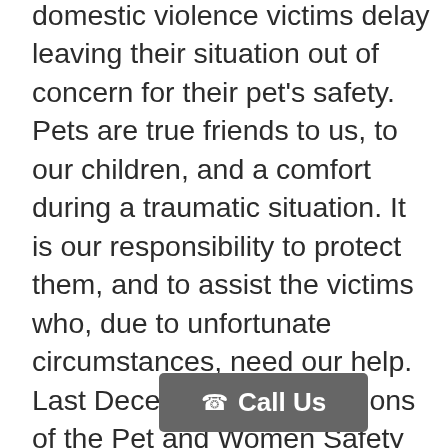domestic violence victims delay leaving their situation out of concern for their pet's safety. Pets are true friends to us, to our children, and a comfort during a traumatic situation. It is our responsibility to protect them, and to assist the victims who, due to unfortunate circumstances, need our help. Last December, the provisions of the Pet and Women Safety Act (PAWS) was signed. The PAWS Act established a grant program for shelters and housing assistance programs to better meet the housing needs of domestic violence survivors with pets. The new law also takes important steps to include pets under protection order violations (PFA), and restitution. More information on this act can be found at awionline.org
Here in Lancaster County, there is a program in place through the Domestic Violence Services called Safe Pets. S... to coordinate